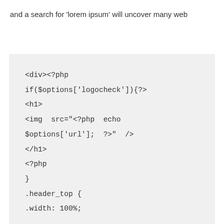and a search for ‘lorem ipsum’ will uncover many web
<div><?php
if($options['logocheck']){?>
<h1>
<img src="<?php echo
$options['url']; ?>" />
</h1>
<?php
}
.header_top {
.width: 100%;